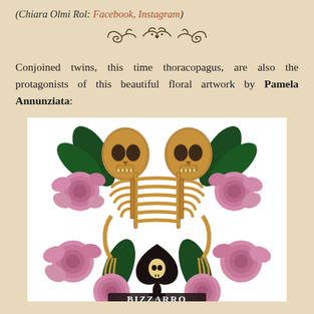(Chiara Olmi Rol: Facebook, Instagram)
[Figure (illustration): Decorative ornamental divider with scrollwork and flourishes]
Conjoined twins, this time thoracopagus, are also the protagonists of this beautiful floral artwork by Pamela Annunziata:
[Figure (illustration): Illustration of conjoined twin skeletons (thoracopagus) surrounded by pink roses and green leaves, with a spade and skull at the bottom bearing the text BIZZARRO]